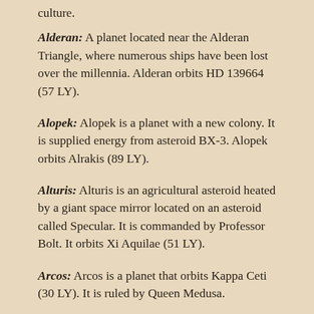culture.
Alderan: A planet located near the Alderan Triangle, where numerous ships have been lost over the millennia. Alderan orbits HD 139664 (57 LY).
Alopek: Alopek is a planet with a new colony. It is supplied energy from asteroid BX-3. Alopek orbits Alrakis (89 LY).
Alturis: Alturis is an agricultural asteroid heated by a giant space mirror located on an asteroid called Specular. It is commanded by Professor Bolt. It orbits Xi Aquilae (51 LY).
Arcos: Arcos is a planet that orbits Kappa Ceti (30 LY). It is ruled by Queen Medusa.